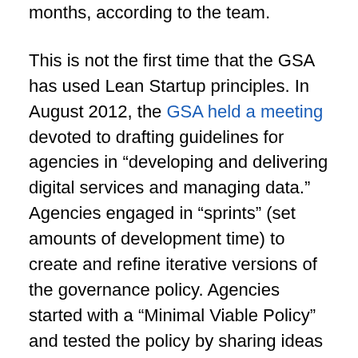months, according to the team.
This is not the first time that the GSA has used Lean Startup principles. In August 2012, the GSA held a meeting devoted to drafting guidelines for agencies in “developing and delivering digital services and managing data.” Agencies engaged in “sprints” (set amounts of development time) to create and refine iterative versions of the governance policy. Agencies started with a “Minimal Viable Policy” and tested the policy by sharing ideas with each other in presentations. By the November 23, 2012, deadline, agencies had robust and fully-developed policies created more rapidly than in the usual process.
In this age of tight budgets, more demands on government services, and higher customer service expectations, Lean Startup can be an effective way